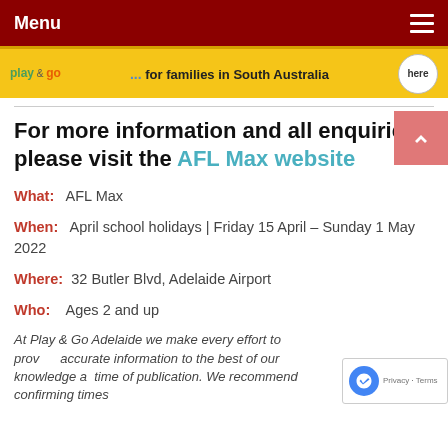Menu
[Figure (infographic): Yellow banner advertisement for Play & Go Adelaide showing 'for families in South Australia' with a 'here' button circle.]
For more information and all enquiries please visit the AFL Max website
What: AFL Max
When: April school holidays | Friday 15 April – Sunday 1 May 2022
Where: 32 Butler Blvd, Adelaide Airport
Who: Ages 2 and up
At Play & Go Adelaide we make every effort to provide accurate information to the best of our knowledge at time of publication. We recommend confirming times